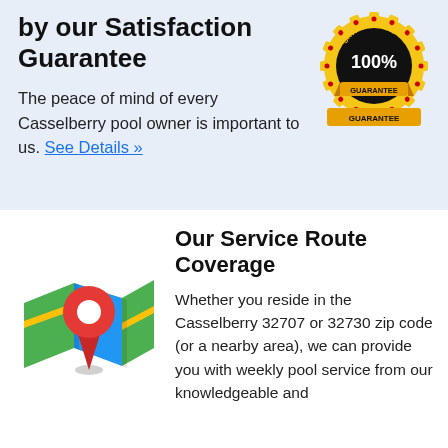by our Satisfaction Guarantee
The peace of mind of every Casselberry pool owner is important to us. See Details »
[Figure (illustration): Gold and black 100% Satisfaction Guarantee badge/seal]
Our Service Route Coverage
[Figure (illustration): Google Maps-style location pin icon over a folded colorful map]
Whether you reside in the Casselberry 32707 or 32730 zip code (or a nearby area), we can provide you with weekly pool service from our knowledgeable and